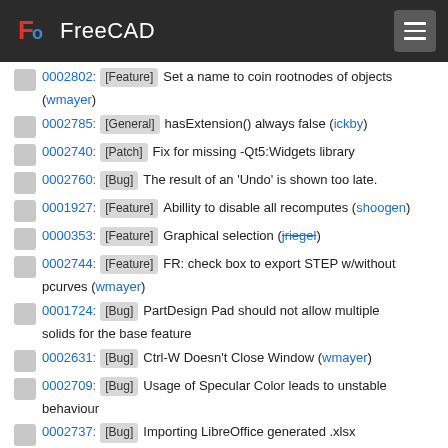FreeCAD
0002802: [Feature] Set a name to coin rootnodes of objects (wmayer)
0002785: [General] hasExtension() always false (ickby)
0002740: [Patch] Fix for missing -Qt5:Widgets library
0002760: [Bug] The result of an 'Undo' is shown too late.
0001927: [Feature] Abillity to disable all recomputes (shoogen)
0000353: [Feature] Graphical selection (jriegel)
0002744: [Feature] FR: check box to export STEP w/without pcurves (wmayer)
0001724: [Bug] PartDesign Pad should not allow multiple solids for the base feature
0002631: [Bug] Ctrl-W Doesn't Close Window (wmayer)
0002709: [Bug] Usage of Specular Color leads to unstable behaviour
0002737: [Bug] Importing LibreOffice generated .xlsx spreadsheeds are always empty
0001588: [Feature] File browser dialogs initial starting directory ignores current working directory (wmayer)